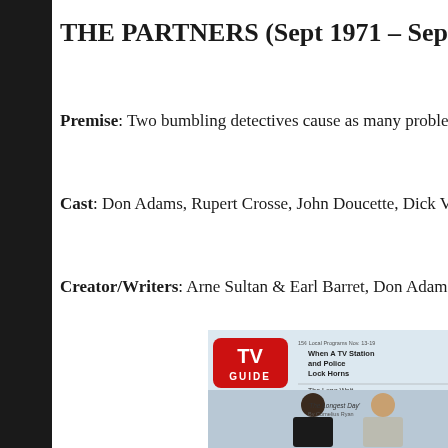THE PARTNERS (Sept 1971 – Sept 1972,
Premise: Two bumbling detectives cause as many problems as th
Cast: Don Adams, Rupert Crosse, John Doucette, Dick Van Patte
Creator/Writers: Arne Sultan & Earl Barret, Don Adams, Bruce
[Figure (photo): TV Guide magazine cover featuring two men sitting, one Black man in a dark suit and one white man in a light suit. The cover shows the TV Guide logo in red, with headlines: 'When A TV Station and Police Lock Horns', 'The Long Wait Before The Longest Day By Cornelius Ryan'. The cover reads '15¢ Local Programs Nov. 13-19'.]